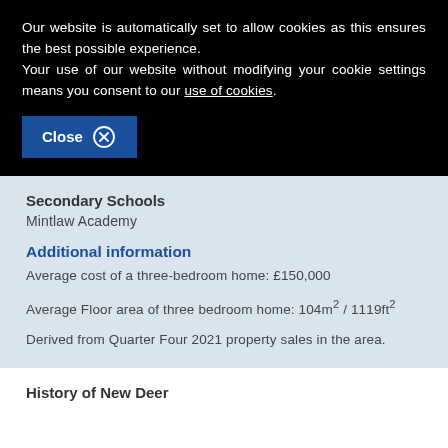Our website is automatically set to allow cookies as this ensures the best possible experience. Your use of our website without modifying your cookie settings means you consent to our use of cookies.
Close
Secondary Schools
Mintlaw Academy
Additional information
Average cost of a three-bedroom home: £150,000
Average Floor area of three bedroom home: 104m² / 1119ft²
Derived from Quarter Four 2021 property sales in the area.
History of New Deer